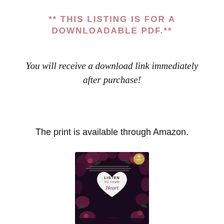** THIS LISTING IS FOR A DOWNLOADABLE PDF.**
You will receive a download link immediately after purchase!
The print is available through Amazon.
[Figure (photo): Book cover for 'Listen to Your Heart' — a journal with dark floral background and a white heart shape containing the title text. '30 Days' badge in upper right corner.]